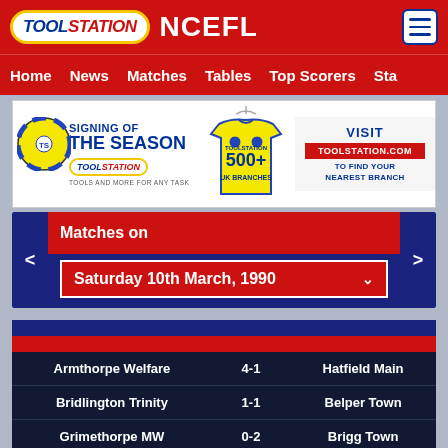TOOLSTATION NCEFL
Home   News   Matches   Tables   Top Scorers   Sta
[Figure (infographic): Toolstation advertisement banner: Signing of the Season, Toolstation 500+ UK Branches, Visit Toolstation.com to find your nearest branch]
Matches on
Saturday 10th March, 1990
| Home Team | Score | Away Team |
| --- | --- | --- |
| Armthorpe Welfare | 4-1 | Hatfield Main |
| Bridlington Trinity | 1-1 | Belper Town |
| Grimethorpe MW | 0-2 | Brigg Town |